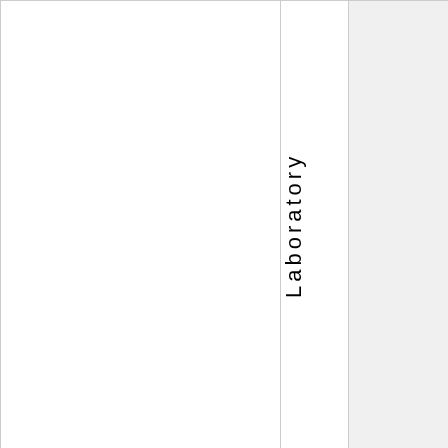|  | Laboratory |  |
| CONTFAST | UCAR/NCAR-Ea | final completed |